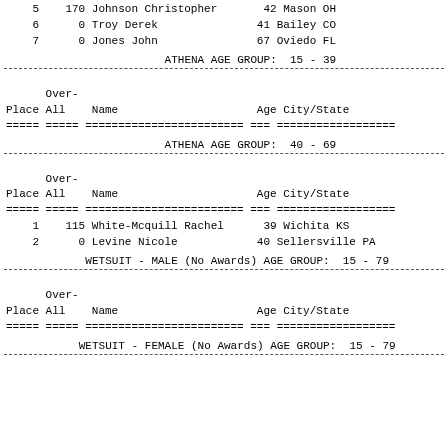| Place | Over-All | Name | Age | City/State |
| --- | --- | --- | --- | --- |
| 5 | 170 | Johnson Christopher | 42 | Mason OH |
| 6 | 0 | Troy Derek | 41 | Bailey CO |
| 7 | 0 | Jones John | 67 | Oviedo FL |
ATHENA AGE GROUP:  15 - 39
| Place | Over-All | Name | Age | City/State |
| --- | --- | --- | --- | --- |
ATHENA AGE GROUP:  40 - 69
| Place | Over-All | Name | Age | City/State |
| --- | --- | --- | --- | --- |
| 1 | 115 | White-Mcquill Rachel | 39 | Wichita KS |
| 2 | 0 | Levine Nicole | 40 | Sellersville PA |
WETSUIT - MALE (No Awards) AGE GROUP:  15 - 79
| Place | Over-All | Name | Age | City/State |
| --- | --- | --- | --- | --- |
WETSUIT - FEMALE (No Awards) AGE GROUP:  15 - 79